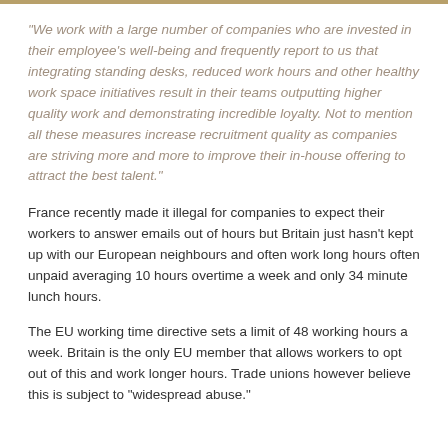“We work with a large number of companies who are invested in their employee's well-being and frequently report to us that integrating standing desks, reduced work hours and other healthy work space initiatives result in their teams outputting higher quality work and demonstrating incredible loyalty. Not to mention all these measures increase recruitment quality as companies are striving more and more to improve their in-house offering to attract the best talent.”
France recently made it illegal for companies to expect their workers to answer emails out of hours but Britain just hasn't kept up with our European neighbours and often work long hours often unpaid averaging 10 hours overtime a week and only 34 minute lunch hours.
The EU working time directive sets a limit of 48 working hours a week. Britain is the only EU member that allows workers to opt out of this and work longer hours. Trade unions however believe this is subject to “widespread abuse.”